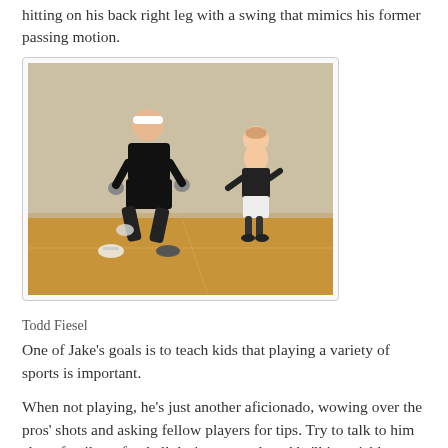hitting on his back right leg with a swing that mimics his former passing motion.
[Figure (photo): Two men in a handball court. The player in front wears black shorts, black shirt, white headband, and gloves, in an athletic wide stance. A second player stands against the back wall in white shorts and black shirt.]
Todd Fiesel
One of Jake's goals is to teach kids that playing a variety of sports is important.
When not playing, he's just another aficionado, wowing over the pros' shots and asking fellow players for tips. Try to talk to him about family or football during a match and he'll invariably steer the conversation back to handball. "Can you believe this guy?" Plummer asks excitedly while watching a consolation match on the last day (surely a role reversal for